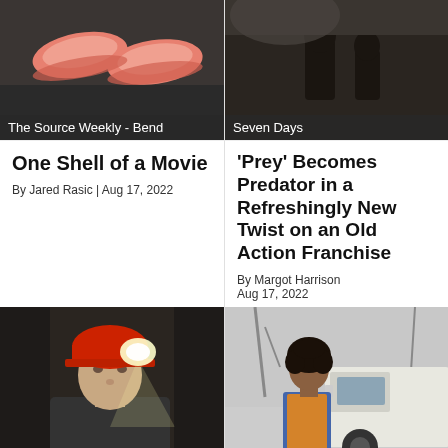[Figure (photo): Top-left photo with overlay label 'The Source Weekly - Bend']
[Figure (photo): Top-right photo with overlay label 'Seven Days']
One Shell of a Movie
By Jared Rasic | Aug 17, 2022
'Prey' Becomes Predator in a Refreshingly New Twist on an Old Action Franchise
By Margot Harrison
Aug 17, 2022
[Figure (photo): Bottom-left photo of man in red hard hat with headlamp, overlay label 'Cleveland Scene']
[Figure (photo): Bottom-right photo of man standing by a truck, overlay label 'Illinois Times']